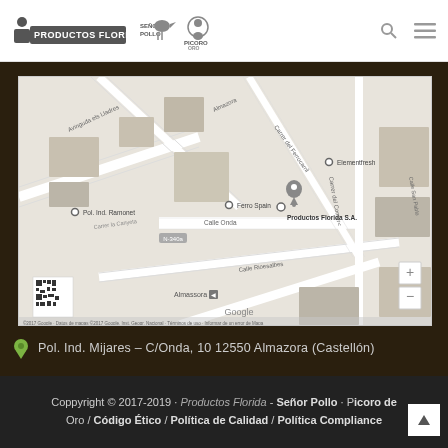Productos Florida | Señor Pollo | Picoro de Oro
[Figure (map): Google Maps screenshot showing location of Productos Florida S.A. at Pol. Ind. Mijares, C/Onda, Almazora (Castellón). Nearby landmarks include Ferro Spain, Pol. Ind. Ramonet, and Elementfresh.]
Pol. Ind. Mijares – C/Onda, 10 12550 Almazora (Castellón)
Coppyright © 2017-2019 · Productos Florida - Señor Pollo · Picoro de Oro / Código Ético / Política de Calidad / Política Compliance